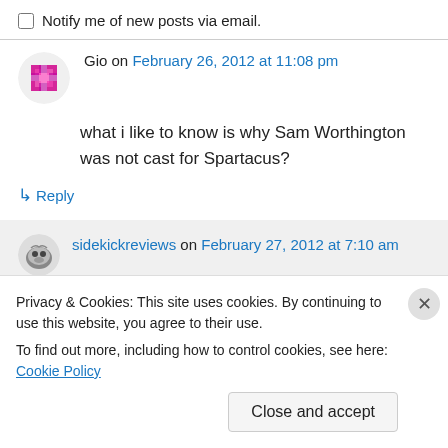Notify me of new posts via email.
Gio on February 26, 2012 at 11:08 pm
what i like to know is why Sam Worthington was not cast for Spartacus?
↳ Reply
sidekickreviews on February 27, 2012 at 7:10 am
Privacy & Cookies: This site uses cookies. By continuing to use this website, you agree to their use. To find out more, including how to control cookies, see here: Cookie Policy